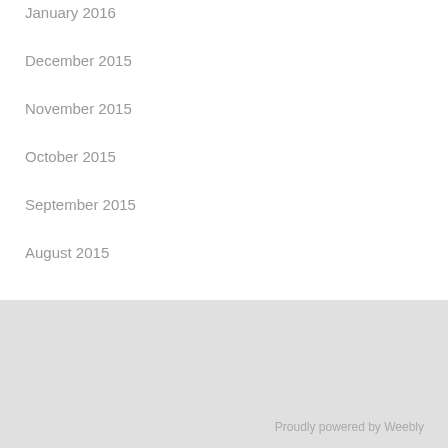January 2016
December 2015
November 2015
October 2015
September 2015
August 2015
Proudly powered by Weebly